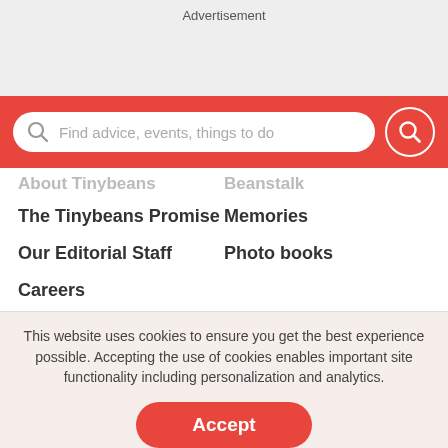Advertisement
[Figure (screenshot): Search bar on red background with magnifying glass icon and placeholder text 'Find advice, events, things to do']
About Tinybeans
Beanstalk
The Tinybeans Promise
Memories
Our Editorial Staff
Photo books
Careers
This website uses cookies to ensure you get the best experience possible. Accepting the use of cookies enables important site functionality including personalization and analytics.
Accept
Decline